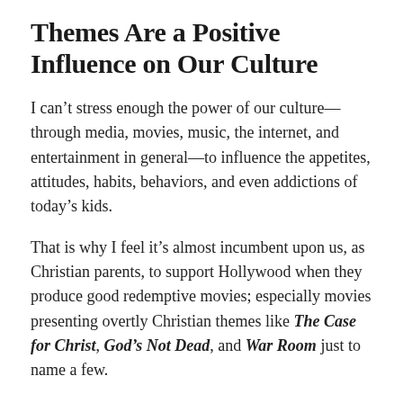Themes Are a Positive Influence on Our Culture
I can't stress enough the power of our culture—through media, movies, music, the internet, and entertainment in general—to influence the appetites, attitudes, habits, behaviors, and even addictions of today's kids.
That is why I feel it's almost incumbent upon us, as Christian parents, to support Hollywood when they produce good redemptive movies; especially movies presenting overtly Christian themes like The Case for Christ, God's Not Dead, and War Room just to name a few.
In my opinion, not going out of our way to support these kinds of films is rejecting golden